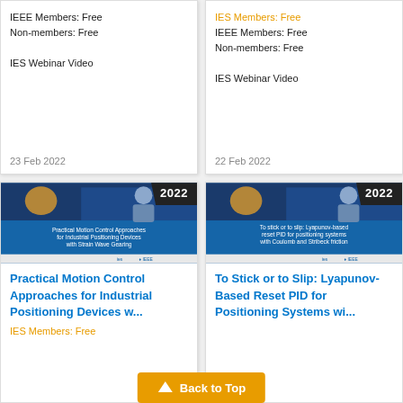IEEE Members: Free
Non-members: Free

IES Webinar Video
IES Members: Free (orange)
IEEE Members: Free
Non-members: Free

IES Webinar Video
23 Feb 2022
22 Feb 2022
[Figure (screenshot): Slide thumbnail for 'Practical Motion Control Approaches for Industrial Positioning Devices with Strain Wave Gearing' with year badge 2022]
[Figure (screenshot): Slide thumbnail for 'To stick or to slip: Lyapunov-based reset PID for positioning systems with Coulomb and Stribeck friction' with year badge 2022]
Practical Motion Control Approaches for Industrial Positioning Devices w...
To Stick or to Slip: Lyapunov-Based Reset PID for Positioning Systems wi...
IES Members: Free
Back to Top